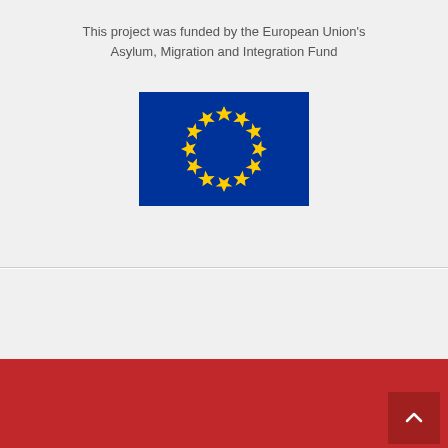This project was funded by the European Union's Asylum, Migration and Integration Fund
[Figure (illustration): European Union flag: blue rectangle with 12 yellow stars arranged in a circle]
PARTNERS
www.agenturq.de
www.anolf.it
www.arbeitgeber.de
www.businesseurope.eu